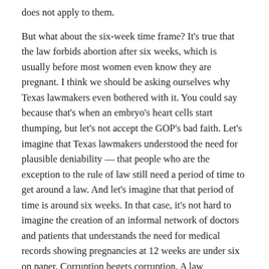does not apply to them.

But what about the six-week time frame? It's true that the law forbids abortion after six weeks, which is usually before most women even know they are pregnant. I think we should be asking ourselves why Texas lawmakers even bothered with it. You could say because that's when an embryo's heart cells start thumping, but let's not accept the GOP's bad faith. Let's imagine that Texas lawmakers understood the need for plausible deniability — that people who are the exception to the rule of law still need a period of time to get around a law. And let's imagine that that period of time is around six weeks. In that case, it's not hard to imagine the creation of an informal network of doctors and patients that understands the need for medical records showing pregnancies at 12 weeks are under six on paper. Corruption begets corruption. A law incentivizing lawlessness will be understood for what it is by doctors prepared to price-gouge vulnerable white women.
Here's the tip jar!